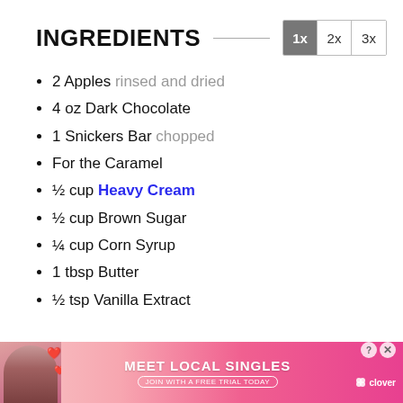INGREDIENTS
2 Apples rinsed and dried
4 oz Dark Chocolate
1 Snickers Bar chopped
For the Caramel
½ cup Heavy Cream
½ cup Brown Sugar
¼ cup Corn Syrup
1 tbsp Butter
½ tsp Vanilla Extract
[Figure (infographic): Advertisement banner: MEET LOCAL SINGLES – JOIN WITH A FREE TRIAL TODAY – clover branding, with photo of woman]